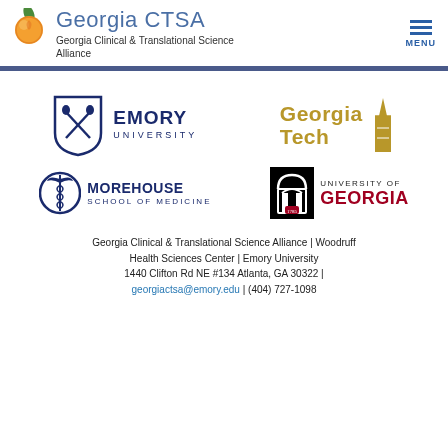Georgia CTSA — Georgia Clinical & Translational Science Alliance
[Figure (logo): Emory University logo — shield with crossed torches and EMORY UNIVERSITY text]
[Figure (logo): Georgia Tech logo — gold text with stylized tower graphic]
[Figure (logo): Morehouse School of Medicine logo — caduceus symbol with text]
[Figure (logo): University of Georgia logo — arch icon with UNIVERSITY OF GEORGIA text]
Georgia Clinical & Translational Science Alliance | Woodruff Health Sciences Center | Emory University 1440 Clifton Rd NE #134 Atlanta, GA 30322 | georgiactsa@emory.edu | (404) 727-1098